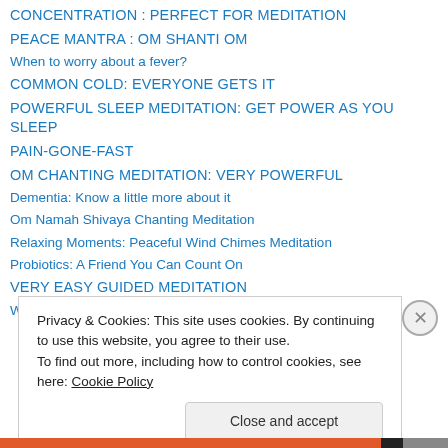CONCENTRATION : PERFECT FOR MEDITATION
PEACE MANTRA : OM SHANTI OM
When to worry about a fever?
COMMON COLD: EVERYONE GETS IT
POWERFUL SLEEP MEDITATION: GET POWER AS YOU SLEEP
PAIN-GONE-FAST
OM CHANTING MEDITATION: VERY POWERFUL
Dementia: Know a little more about it
Om Namah Shivaya Chanting Meditation
Relaxing Moments: Peaceful Wind Chimes Meditation
Probiotics: A Friend You Can Count On
VERY EASY GUIDED MEDITATION
What is Meditation?
Privacy & Cookies: This site uses cookies. By continuing to use this website, you agree to their use.
To find out more, including how to control cookies, see here: Cookie Policy
Close and accept